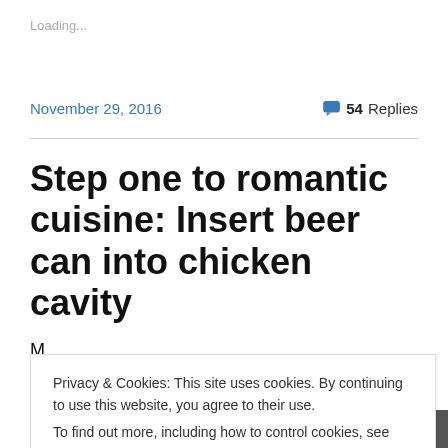Loading...
November 29, 2016
54 Replies
Step one to romantic cuisine: Insert beer can into chicken cavity
Privacy & Cookies: This site uses cookies. By continuing to use this website, you agree to their use.
To find out more, including how to control cookies, see here: Cookie Policy
[Figure (photo): Partial photo strip visible at the bottom of the page, showing what appears to be food being cooked.]